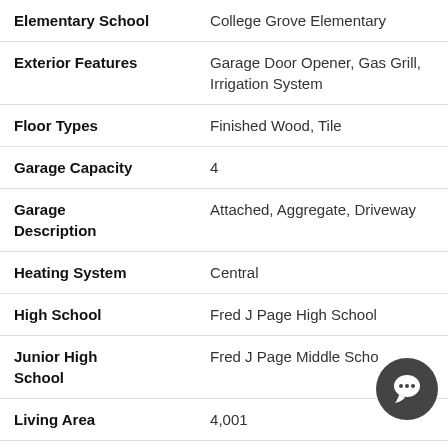| Field | Value |
| --- | --- |
| Elementary School | College Grove Elementary |
| Exterior Features | Garage Door Opener, Gas Grill, Irrigation System |
| Floor Types | Finished Wood, Tile |
| Garage Capacity | 4 |
| Garage Description | Attached, Aggregate, Driveway |
| Heating System | Central |
| High School | Fred J Page High School |
| Junior High School | Fred J Page Middle Scho... |
| Living Area | 4,001 |